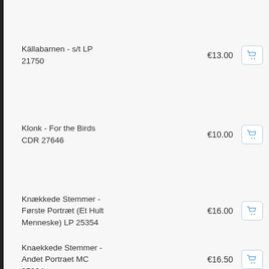Källabarnen - s/t LP 21750 €13.00
Klonk - For the Birds CDR 27646 €10.00
Knækkede Stemmer - Første Portræt (Et Hult Menneske) LP 25354 €16.00
Knaekkede Stemmer - Andet Portraet MC 27094 €16.50